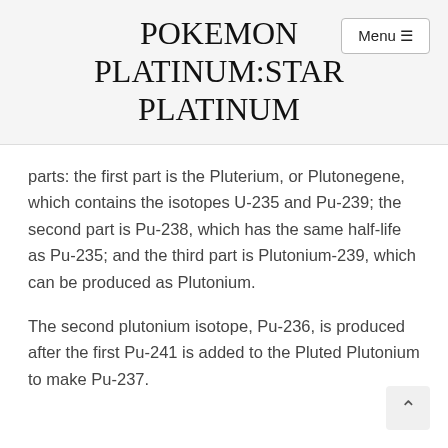POKEMON PLATINUM:STAR PLATINUM
parts: the first part is the Pluterium, or Plutonegene, which contains the isotopes U-235 and Pu-239; the second part is Pu-238, which has the same half-life as Pu-235; and the third part is Plutonium-239, which can be produced as Plutonium.
The second plutonium isotope, Pu-236, is produced after the first Pu-241 is added to the Pluted Plutonium to make Pu-237.